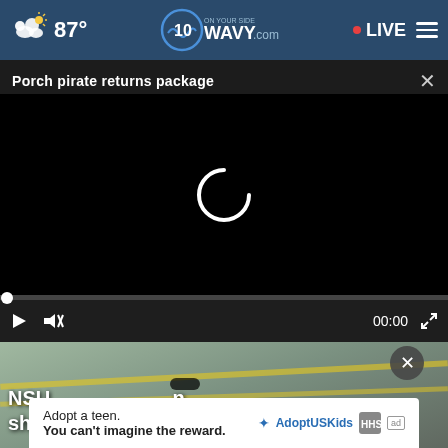87° WAVY.com ON YOUR SIDE LIVE
Porch pirate returns package
[Figure (screenshot): Video player with black loading screen showing a spinning loading indicator, progress bar at start, and playback controls showing 00:00]
[Figure (screenshot): Bottom news thumbnail showing flooded street scene with yellow crime tape and partial headline 'NSU ... sho...']
Adopt a teen. You can't imagine the reward. AdoptUSKids